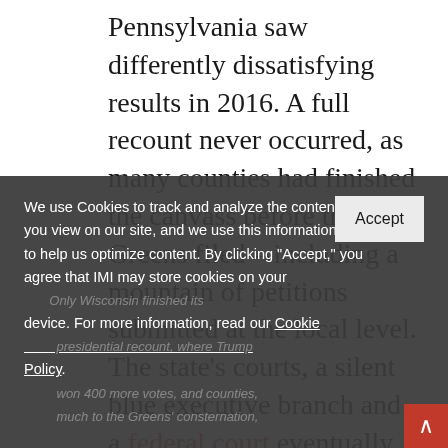Pennsylvania saw differently dissatisfying results in 2016. A full recount never occurred, as many counties had finished the canvass before the Greens filed—including a mountain of petitions submitted at the local level. The state's courts, a silent blue executive branch and a federal court eventually shut it down. Late last fall, Greens settled a
We use Cookies to track and analyze the content you view on our site, and we use this information to help us optimize content. By clicking "Accept," you agree that IMI may store cookies on your device. For more information, read our Cookie Policy.